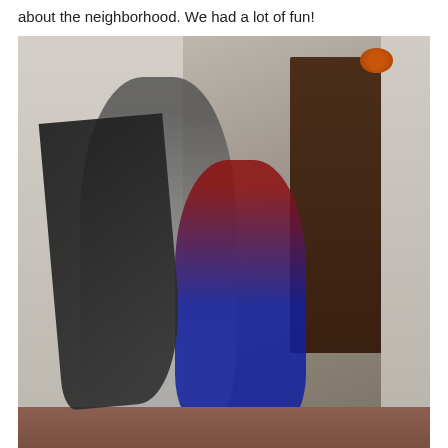about the neighborhood. We had a lot of fun!
[Figure (photo): Two young children in Halloween costumes standing outside in front of a dark wooden door. The older child is dressed as Batman with a cape and bat-ear mask, hugging the younger child from behind. The younger child is dressed as Superman with a red and navy blue outfit and Superman logo. There is a pumpkin decoration visible near the door.]